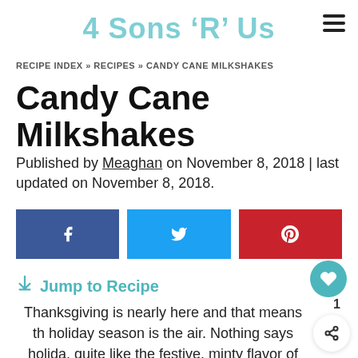4 Sons 'R' Us
RECIPE INDEX » RECIPES » CANDY CANE MILKSHAKES
Candy Cane Milkshakes
Published by Meaghan on November 8, 2018 | last updated on November 8, 2018.
[Figure (infographic): Three social share buttons: Facebook (dark blue with f icon), Twitter (light blue with bird icon), Pinterest (red with P icon)]
↓ Jump to Recipe
Thanksgiving is nearly here and that means the holiday season is the air. Nothing says holiday quite like the festive, minty flavor of can... Our candy cane milkshakes are an easy, cool dessert treat, perfect to help you ring in the most